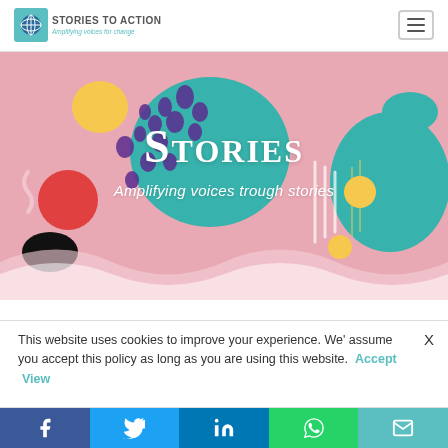STORIES TO ACTION — Amplifying voices for change
[Figure (illustration): Colorful abstract hero banner with pink background, teal blob shapes, purple abstract dots and swirls, yellow circle, red circle, black shape, white wavy lines, and large teal circle in center. Text overlay: STORIES / Amplifying voices trough stories]
STORIES
Amplifying voices trough stories
This website uses cookies to improve your experience. We' assume you accept this policy as long as you are using this website. Accept  View
Social bar: Facebook, Twitter, LinkedIn, WhatsApp, Email